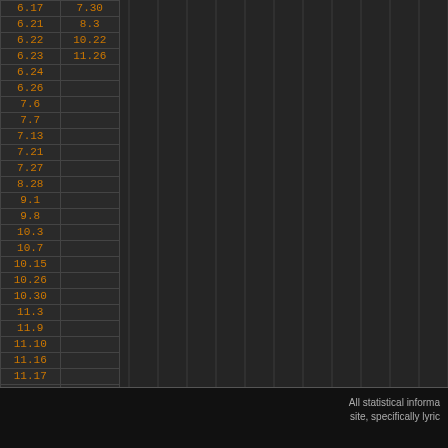| Col1 | Col2 |
| --- | --- |
| 6.17 | 7.30 |
| 6.21 | 8.3 |
| 6.22 | 10.22 |
| 6.23 | 11.26 |
| 6.24 |  |
| 6.26 |  |
| 7.6 |  |
| 7.7 |  |
| 7.13 |  |
| 7.21 |  |
| 7.27 |  |
| 8.28 |  |
| 9.1 |  |
| 9.8 |  |
| 10.3 |  |
| 10.7 |  |
| 10.15 |  |
| 10.26 |  |
| 10.30 |  |
| 11.3 |  |
| 11.9 |  |
| 11.10 |  |
| 11.16 |  |
| 11.17 |  |
| 11.23 |  |
| 11.24 |  |
| 11.26 |  |
| 12.1 |  |
| 12.2 |  |
| 12.7 |  |
| 12.28 |  |
| 12.31 |  |
All statistical informa site, specifically lyric